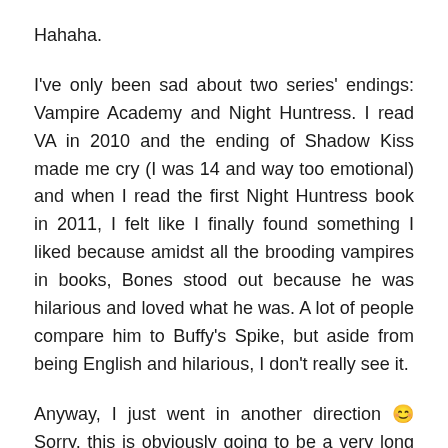Hahaha.
I've only been sad about two series' endings: Vampire Academy and Night Huntress. I read VA in 2010 and the ending of Shadow Kiss made me cry (I was 14 and way too emotional) and when I read the first Night Huntress book in 2011, I felt like I finally found something I liked because amidst all the brooding vampires in books, Bones stood out because he was hilarious and loved what he was. A lot of people compare him to Buffy's Spike, but aside from being English and hilarious, I don't really see it.
Anyway, I just went in another direction 😊 Sorry, this is obviously going to be a very long comment.
I was said when these series ended because they were